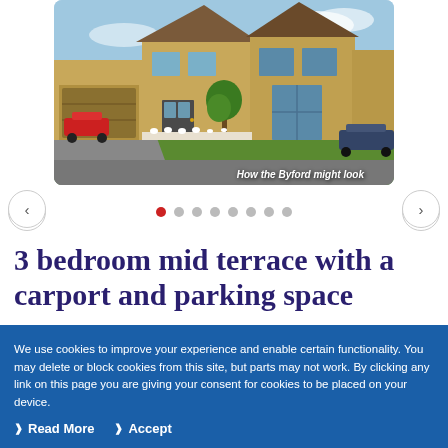[Figure (photo): Exterior rendering of the Byford house type — a 3-bedroom mid-terrace with brick facade, featuring garages and landscaped front garden. Caption reads: 'How the Byford might look']
3 bedroom mid terrace with a carport and parking space
We use cookies to improve your experience and enable certain functionality. You may delete or block cookies from this site, but parts may not work. By clicking any link on this page you are giving your consent for cookies to be placed on your device.
Read More
Accept